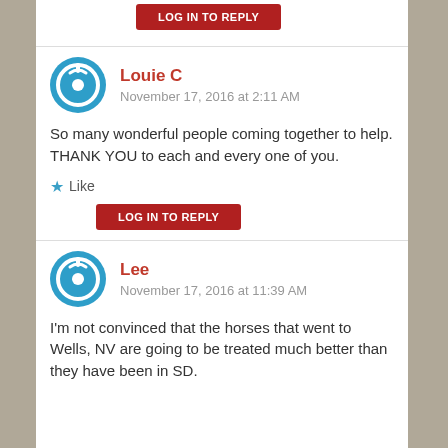LOG IN TO REPLY
Louie C
November 17, 2016 at 2:11 AM
So many wonderful people coming together to help. THANK YOU to each and every one of you.
Like
LOG IN TO REPLY
Lee
November 17, 2016 at 11:39 AM
I'm not convinced that the horses that went to Wells, NV are going to be treated much better than they have been in SD.